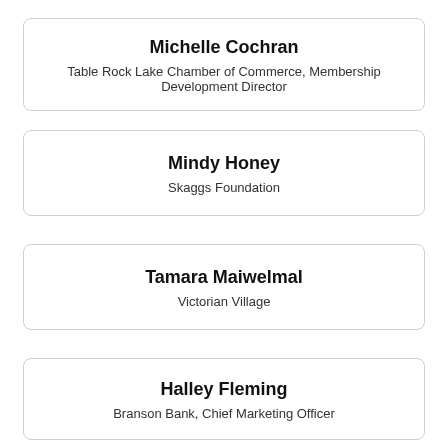Michelle Cochran
Table Rock Lake Chamber of Commerce, Membership Development Director
Mindy Honey
Skaggs Foundation
Tamara Maiwelmal
Victorian Village
Halley Fleming
Branson Bank, Chief Marketing Officer